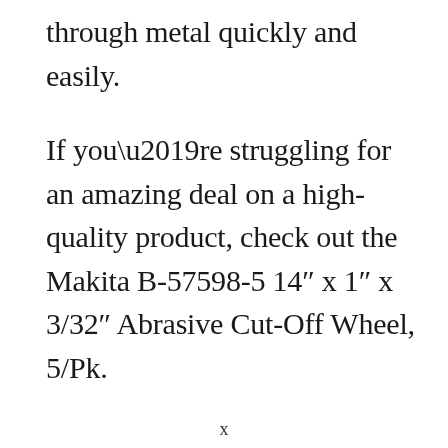through metal quickly and easily.
If you’re struggling for an amazing deal on a high-quality product, check out the Makita B-57598-5 14″ x 1″ x 3/32″ Abrasive Cut-Off Wheel, 5/Pk.
x